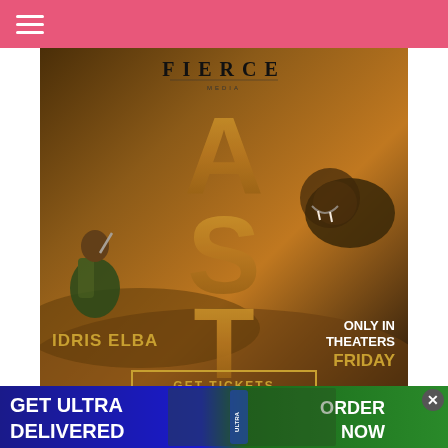[Figure (photo): Movie advertisement for 'Beast' starring Idris Elba. Shows a man crouching with a knife facing a large lion. Text reads: FIERCE media logo, BEAST (large letters A, S, T visible), IDRIS ELBA, ONLY IN THEATERS FRIDAY, GET TICKETS. Universal Pictures logo and rating visible.]
[Figure (photo): Bottom advertisement banner: GET ULTRA DELIVERED with ORDER NOW button. Shows food items and Ultra bottle.]